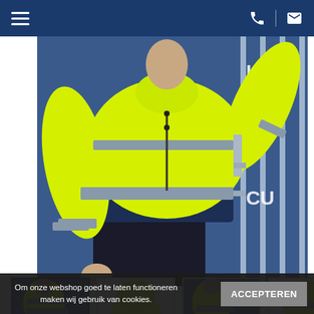Navigation bar with hamburger menu, phone icon, and email icon
[Figure (photo): A worker wearing a bright yellow/lime high-visibility bomber jacket with grey reflective strips and dark navy lower panel, standing in front of blue shipping containers with metal locking bars]
[Figure (photo): Thumbnail 1 (active/selected): same worker in hi-vis jacket near containers]
[Figure (photo): Thumbnail 2: yellow jacket hood view]
[Figure (photo): Thumbnail 3: worker in hi-vis jacket, different angle]
[Figure (photo): Thumbnail 4: yellow jacket folded/displayed]
Om onze webshop goed te laten functioneren maken wij gebruik van cookies.
ACCEPTEREN